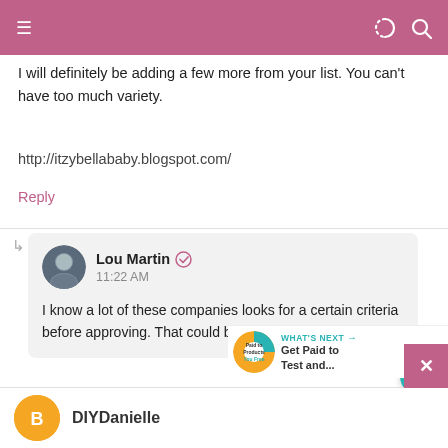Navigation header with menu, dark mode, and search icons
I will definitely be adding a few more from your list. You can't have too much variety.
http://itzybellababy.blogspot.com/
Reply
Lou Martin 11:22 AM — I know a lot of these companies looks for a certain criteria before approving. That could be the case.
DIYDanielle